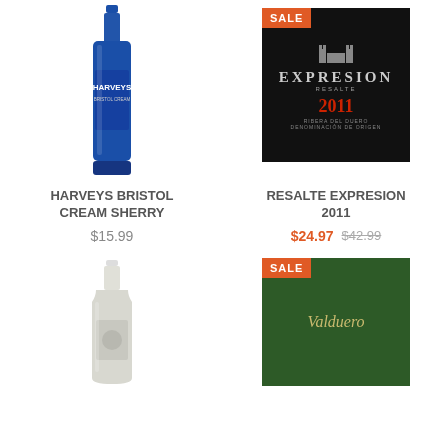[Figure (photo): Harveys Bristol Cream Sherry blue bottle]
[Figure (photo): Resalte Expresion 2011 wine label on black background with SALE badge]
HARVEYS BRISTOL CREAM SHERRY
RESALTE EXPRESION 2011
$15.99
$24.97  $42.99
[Figure (photo): White/cream wine bottle partially visible]
[Figure (photo): Valduero wine label on dark green background with SALE badge]